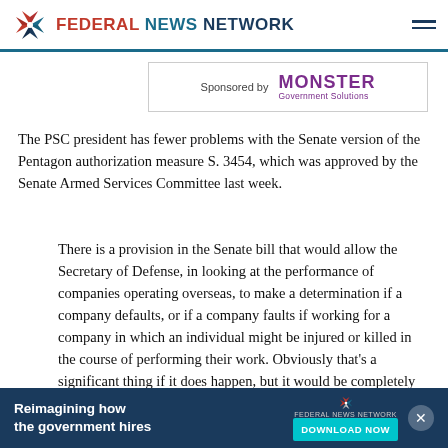FEDERAL NEWS NETWORK
[Figure (logo): Federal News Network logo with pinwheel icon, red, teal and navy colors]
Sponsored by MONSTER Government Solutions
The PSC president has fewer problems with the Senate version of the Pentagon authorization measure S. 3454, which was approved by the Senate Armed Services Committee last week.
There is a provision in the Senate bill that would allow the Secretary of Defense, in looking at the performance of companies operating overseas, to make a determination if a company defaults, or if a company faults if working for a company in which an individual might be injured or killed in the course of performing their work. Obviously that’s a significant thing if it does happen, but it would be completely inappropriate for the
[Figure (infographic): Federal News Network advertisement banner: Reimagining how the government hires, with DOWNLOAD NOW button]